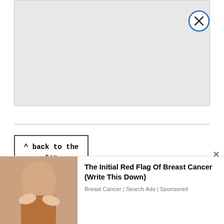[Figure (other): Gray advertisement banner placeholder with close (X) button in upper right corner]
^ back to the top
Thursday, December 15, 2011
by Mike
In Madison's room, Brady and Madison were decorating a Christmas tree. Madison
[Figure (other): Bottom advertisement overlay: photo of person with hands on stomach on left; ad text 'The Initial Red Flag Of Breast Cancer (Write This Down)' by 'Breast Cancer | Search Ads | Sponsored' on right]